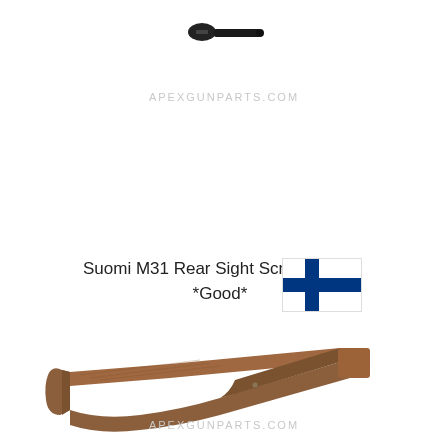[Figure (photo): A small black metal screw with a flat head, shown from the side, oriented horizontally pointing left]
APEXGUNPARTS.COM
Suomi M31 Rear Sight Screw, Long, *Good*
[Figure (photo): Finnish flag - white background with a blue Nordic cross]
[Figure (photo): A wooden rifle stock, brown/tan wood grain, shown from the side]
APEXGUNPARTS.COM